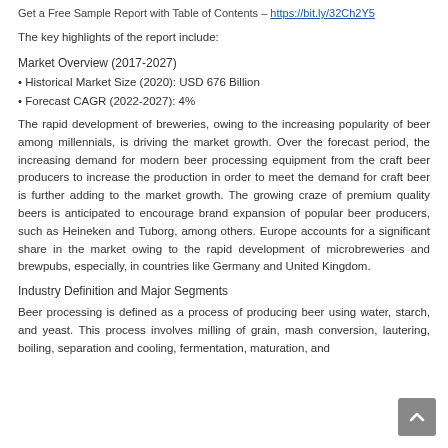Get a Free Sample Report with Table of Contents – https://bit.ly/32Ch2Y5
The key highlights of the report include:
Market Overview (2017-2027)
• Historical Market Size (2020): USD 676 Billion
• Forecast CAGR (2022-2027): 4%
The rapid development of breweries, owing to the increasing popularity of beer among millennials, is driving the market growth. Over the forecast period, the increasing demand for modern beer processing equipment from the craft beer producers to increase the production in order to meet the demand for craft beer is further adding to the market growth. The growing craze of premium quality beers is anticipated to encourage brand expansion of popular beer producers, such as Heineken and Tuborg, among others. Europe accounts for a significant share in the market owing to the rapid development of microbreweries and brewpubs, especially, in countries like Germany and United Kingdom.
Industry Definition and Major Segments
Beer processing is defined as a process of producing beer using water, starch, and yeast. This process involves milling of grain, mash conversion, lautering, boiling, separation and cooling, fermentation, maturation, and